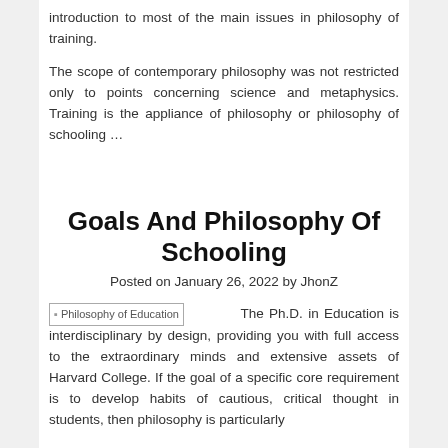introduction to most of the main issues in philosophy of training.
The scope of contemporary philosophy was not restricted only to points concerning science and metaphysics. Training is the appliance of philosophy or philosophy of schooling …
Goals And Philosophy Of Schooling
Posted on January 26, 2022 by JhonZ
The Ph.D. in Education is interdisciplinary by design, providing you with full access to the extraordinary minds and extensive assets of Harvard College. If the goal of a specific core requirement is to develop habits of cautious, critical thought in students, then philosophy is particularly